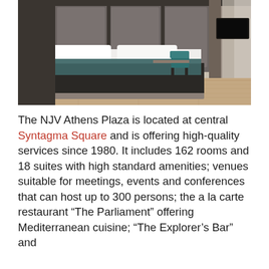[Figure (photo): Interior hotel room photo showing a large bed with white pillows and a dark teal/grey bedspread, grey upholstered headboard panels, wood flooring, pendant lights, a teal accent chair, and a flat-screen TV mounted on the wall to the right.]
The NJV Athens Plaza is located at central Syntagma Square and is offering high-quality services since 1980. It includes 162 rooms and 18 suites with high standard amenities; venues suitable for meetings, events and conferences that can host up to 300 persons; the a la carte restaurant “The Parliament” offering Mediterranean cuisine; “The Explorer’s Bar” and